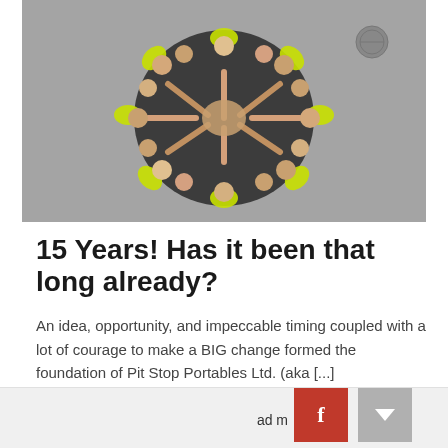[Figure (photo): Aerial overhead photo of a group of workers in dark uniforms with yellow-green high-visibility vests, standing in a circle and joining hands in the center, viewed from above on a grey concrete surface.]
15 Years! Has it been that long already?
An idea, opportunity, and impeccable timing coupled with a lot of courage to make a BIG change formed the foundation of Pit Stop Portables Ltd. (aka [...]